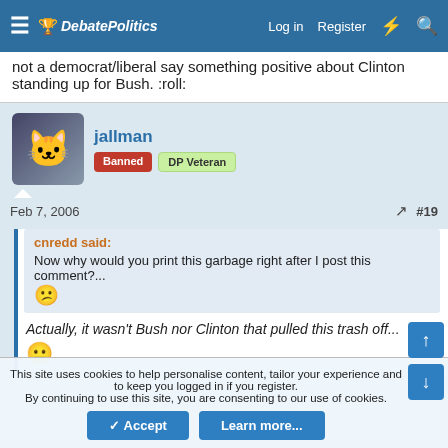DebatePolitics — Log in  Register
not a democrat/liberal say something positive about Clinton standing up for Bush. :roll:
jallman  Banned  DP Veteran
Feb 7, 2006  #19
cnredd said: Now why would you print this garbage right after I post this comment?... Actually, it wasn't Bush nor Clinton that pulled this trash off...
This site uses cookies to help personalise content, tailor your experience and to keep you logged in if you register. By continuing to use this site, you are consenting to our use of cookies.  Accept  Learn more...